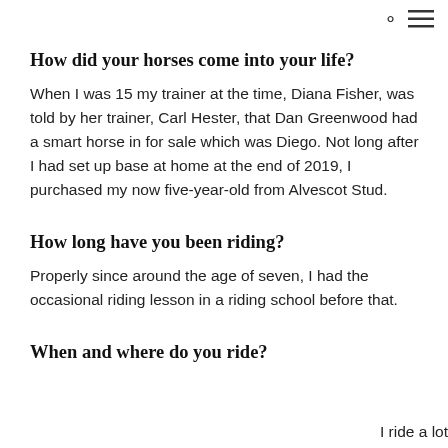🔍 ≡
How did your horses come into your life?
When I was 15 my trainer at the time, Diana Fisher, was told by her trainer, Carl Hester, that Dan Greenwood had a smart horse in for sale which was Diego. Not long after I had set up base at home at the end of 2019, I purchased my now five-year-old from Alvescot Stud.
How long have you been riding?
Properly since around the age of seven, I had the occasional riding lesson in a riding school before that.
When and where do you ride?
I ride a lot